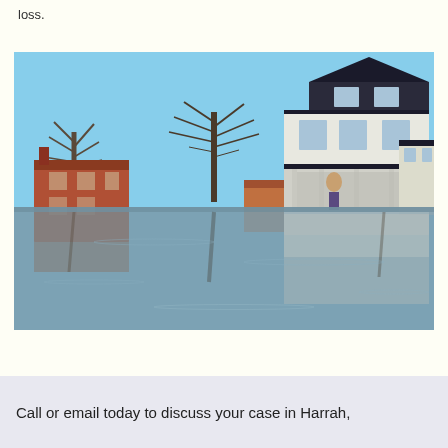loss.
[Figure (photo): A flooded neighborhood scene showing houses surrounded by floodwater. A large white two-story house with a porch is reflected in the brown floodwater. Bare trees and a brick building are visible in the background under a clear blue sky.]
Call or email today to discuss your case in Harrah,